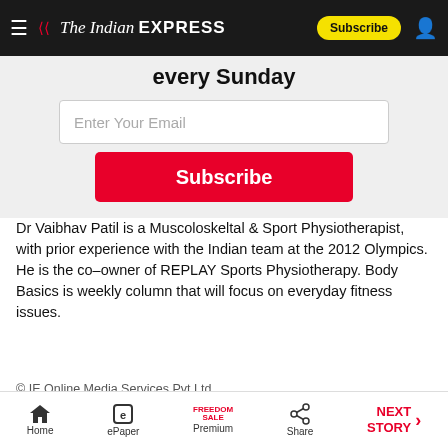The Indian EXPRESS — Subscribe
every Sunday
[Figure (screenshot): Email subscription box with 'Enter Your Email' placeholder and red Subscribe button]
Dr Vaibhav Patil is a Muscoloskeltal & Sport Physiotherapist, with prior experience with the Indian team at the 2012 Olympics. He is the co–owner of REPLAY Sports Physiotherapy. Body Basics is weekly column that will focus on everyday fitness issues.
© IE Online Media Services Pvt Ltd
First published on: 25-11-2015 at 06:16:26 pm
Home | ePaper | Premium | Share | NEXT STORY